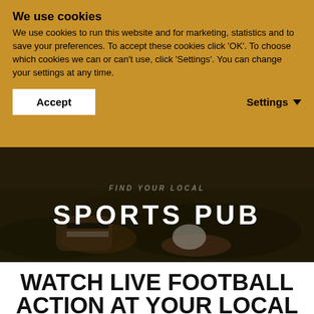We use cookies
We use cookies to run this website and for marketing, statistics and to save your preferences. To accept these cookies click 'OK'. To choose which cookies we can or can't use, click 'Settings'. You can change your settings at any time.
Accept   Settings
[Figure (photo): Background hero image of a football player in cleats diving on a grass field with a rugby ball, overlaid with dark tint. Text overlay reads 'FIND YOUR LOCAL' (small, faded) and 'SPORTS PUB' (large, bold, white).]
WATCH LIVE FOOTBALL ACTION AT YOUR LOCAL SPORTS PUB